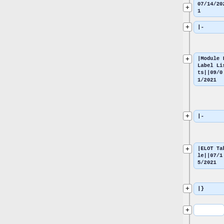[Figure (screenshot): A code editor or diff viewer showing a tree/outline of wiki markup nodes. Left panel is grey. Right panel shows a vertical list of expandable nodes connected by lines. Each node has a plus (+) button and a rounded rectangle box. Nodes shown (top to bottom): '07/14/2021' (partially visible at top), '|-', '|Module L Label Lists||09/01/2021', '|-', '|ELOT Table||07/15/2021', '|}', (empty node), (empty node), ':{| class="alternate01"' (partially visible at bottom).]